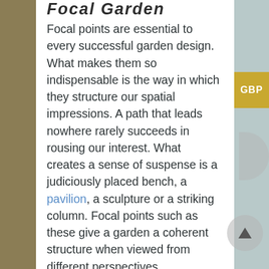Focal Garden
Focal points are essential to every successful garden design. What makes them so indispensable is the way in which they structure our spatial impressions. A path that leads nowhere rarely succeeds in rousing our interest. What creates a sense of suspense is a judiciously placed bench, a pavilion, a sculpture or a striking column. Focal points such as these give a garden a coherent structure when viewed from different perspectives, transforming it into a succession of breath-taking images.